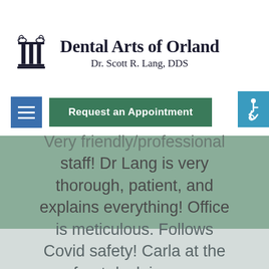[Figure (logo): Dental Arts of Orland logo with Greek column/pillar icon and text 'Dental Arts of Orland' and 'Dr. Scott R. Lang, DDS']
[Figure (screenshot): Navigation bar with hamburger menu button (blue) and 'Request an Appointment' green button, plus accessibility icon (blue) on right]
Very friendly/professional staff! Dr Lang is very thorough, patient, and explains everything! Office is meticulous. Follows Covid safety! Carla at the front desk is very organized, pleasant and gives you a printout of